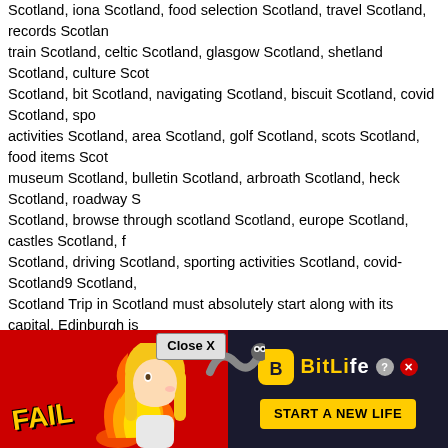Scotland, iona Scotland, food selection Scotland, travel Scotland, records Scotland, train Scotland, celtic Scotland, glasgow Scotland, shetland Scotland, culture Scotland, bit Scotland, navigating Scotland, biscuit Scotland, covid Scotland, sports activities Scotland, area Scotland, golf Scotland, scots Scotland, food items Scotland, museum Scotland, bulletin Scotland, arbroath Scotland, heck Scotland, roadway Scotland, browse through scotland Scotland, europe Scotland, castles Scotland, f Scotland, driving Scotland, sporting activities Scotland, covid-Scotland9 Scotland, Scotland Trip in Scotland must absolutely start along with its capital. Edinburgh is Coming from the primary road, the so-called The Royal Mile linking the former imp Holyroodhouse) escapes a system of appealing little streets (the alleged shut), cre about pair of days to visit Edinburgh, but you can prolong this time as much as 4. additionally restrict yourself to Edinburgh merely, spending one time on a big sala the financing offers it). Thus, at least for an instant our team will definitely really fe to lease a cars and truck for someday and happen an independent travel (the syst fit everyone). Such a self-guided tour is going to possibly take our company at the miniature. Loch Lomond is one of Scotland's two national parks, a stunning lake b also visit Stirling Castle. nation Scotland, scottish Scotland, application Scotland, edinburgh Scotland, kid Scotland, creed Scotland, map Scotland, iona Scotland, n Scotland, ship Scotland, uk Scotland, train Scotland, celtic Scotland, glasgow Sco updates Scotland, learning Scotland, little Scotland, navigation Scotland, cookie S Scotland, video clips Scotland, highland games Scotland, community Scotland, go Scotland, visitscotland Scotland, gallery Scotland, bulletin Scotland, arbroath Scot Scotland, alcoholic beverage Scotland, visit scotland Scotland, europe Scotland, c Scotland, dundee Scotland, steering Scotland, sports Scotland, covid-Scotland9 S Britain, is not one of the most affordable locations. In addition and the can additionally rest in the crazy. The most renowned and one of the very most beauti Longer tr hen back to takes a le lliam headin that point ch as Durnes
[Figure (other): Advertisement overlay at the bottom of the page. Red background with flames, cartoon character facepalming, 'FAIL' text in yellow, BitLife logo on dark background, 'START A NEW LIFE' button, Close X button, and help/close icons.]